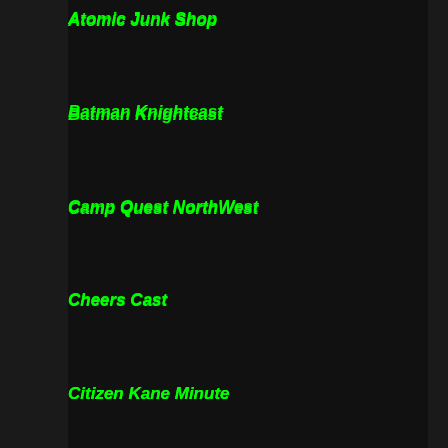Atomic Junk Shop
Batman Knightcast
Camp Quest NorthWest
Cheers Cast
Citizen Kane Minute
Council of Geeks
Dead Bothan Spies: A Star Wars Podcast
Fade Out
Film and Water Podcast
Fire and Water Podcast Network
Gimme Me That Star Trek
Give Me Those Star Wars